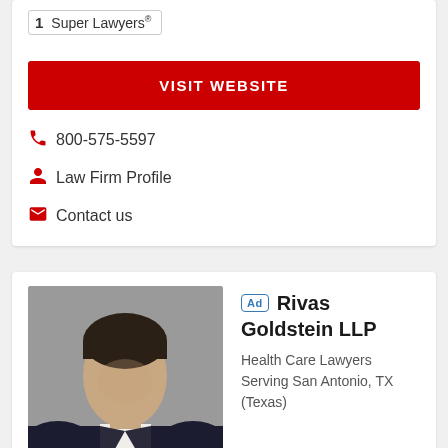[Figure (other): Super Lawyers badge showing number 1 and text 'Super Lawyers']
VISIT WEBSITE
800-575-5597
Law Firm Profile
Contact us
[Figure (photo): Professional headshot of a man in a dark suit and white shirt, smiling]
Rivas Goldstein LLP
Health Care Lawyers Serving San Antonio, TX (Texas)
Experienced Health Care Law attorneys serving health care